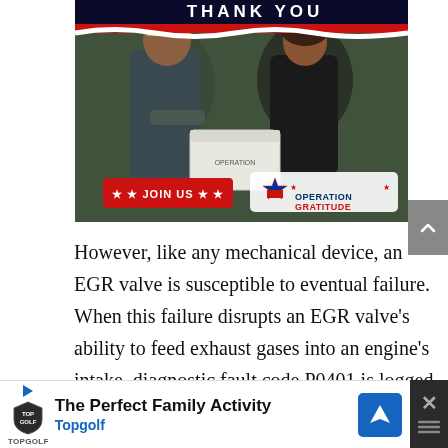[Figure (photo): Photo of a military servicemember receiving a package from a civilian woman, with 'JOIN US' red banner and 'Operation Gratitude' logo overlay. Partial 'THANK YOU' text visible at top.]
However, like any mechanical device, an EGR valve is susceptible to eventual failure. When this failure disrupts an EGR valve's ability to feed exhaust gases into an engine's intake, diagnostic fault code P0401 is logged by a vehicle's ECM, and a check engine light is
[Figure (advertisement): Bottom ad bar: Topgolf 'The Perfect Family Activity' advertisement with play button, Topgolf logo, navigation icon, and close (X) button.]